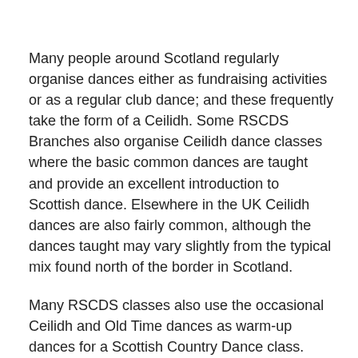Many people around Scotland regularly organise dances either as fundraising activities or as a regular club dance; and these frequently take the form of a Ceilidh. Some RSCDS Branches also organise Ceilidh dance classes where the basic common dances are taught and provide an excellent introduction to Scottish dance. Elsewhere in the UK Ceilidh dances are also fairly common, although the dances taught may vary slightly from the typical mix found north of the border in Scotland.
Many RSCDS classes also use the occasional Ceilidh and Old Time dances as warm-up dances for a Scottish Country Dance class.
If you keep a look out and search for Ceilidh dances in the area where you live then you will find information about what is on and where the venue is located.